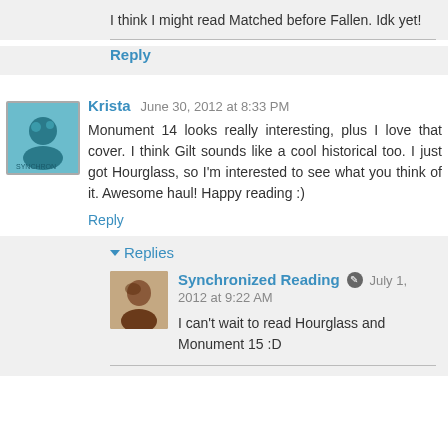I think I might read Matched before Fallen. Idk yet!
Reply
Krista June 30, 2012 at 8:33 PM
Monument 14 looks really interesting, plus I love that cover. I think Gilt sounds like a cool historical too. I just got Hourglass, so I'm interested to see what you think of it. Awesome haul! Happy reading :)
Reply
Replies
Synchronized Reading July 1, 2012 at 9:22 AM
I can't wait to read Hourglass and Monument 15 :D